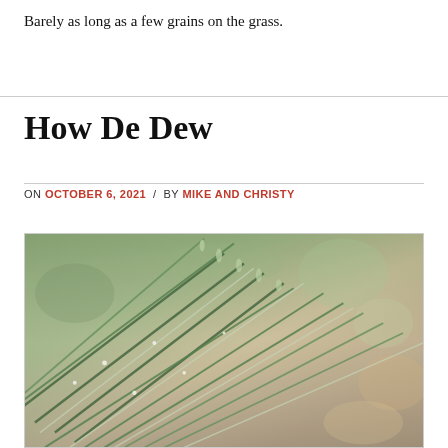Barely as long as a few grains on the grass.
How De Dew
ON OCTOBER 6, 2021 / BY MIKE AND CHRISTY
[Figure (photo): Close-up macro photograph of grass blades with dew, showing green grass stems and seed heads with bokeh background in warm brown tones.]